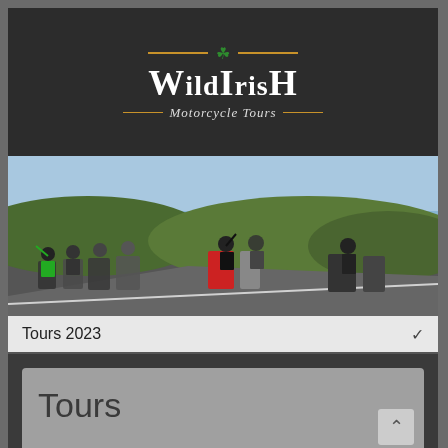[Figure (logo): Wild Irish Motorcycle Tours logo with shamrock, orange decorative lines, white serif text on dark background]
[Figure (photo): Group of motorcyclists on a coastal road with motorcycles parked, people waving, ocean visible in background under clear sky]
Tours 2023
Tours